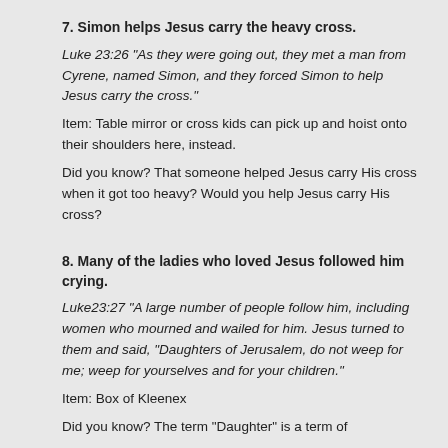7. Simon helps Jesus carry the heavy cross.
Luke 23:26 “As they were going out, they met a man from Cyrene, named Simon, and they forced Simon to help Jesus carry the cross.”
Item: Table mirror or cross kids can pick up and hoist onto their shoulders here, instead.
Did you know? That someone helped Jesus carry His cross when it got too heavy? Would you help Jesus carry His cross?
8. Many of the ladies who loved Jesus followed him crying.
Luke23:27 “A large number of people follow him, including women who mourned and wailed for him. Jesus turned to them and said, “Daughters of Jerusalem, do not weep for me; weep for yourselves and for your children.”
Item: Box of Kleenex
Did you know? The term “Daughter” is a term of